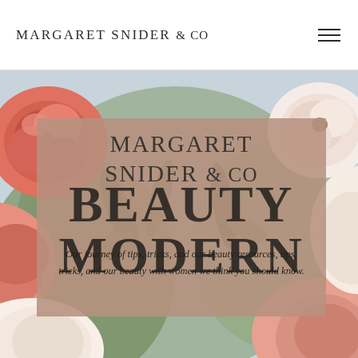MARGARET SNIDER & co
[Figure (photo): Background photo of pink, coral, and white flowers (roses, peonies) with green foliage]
MARGARET SNIDER & co
BEAUTY MODERN
Our journey of tips, tricks, and our beauty resources, we think you should know.